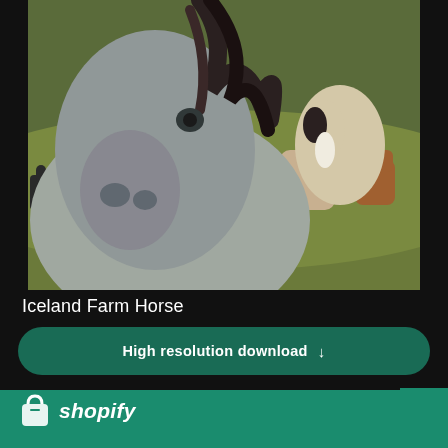[Figure (photo): Close-up photograph of an Iceland Farm Horse in the foreground with other horses grazing on green hills in the background. The main horse is grey with a flowing black mane.]
Iceland Farm Horse
High resolution download ↓
[Figure (photo): Partial view of a second photo showing trees with branches against a bright sky, partially obscured by the Shopify overlay.]
[Figure (logo): Shopify logo — white shopping bag icon and italic white text 'shopify' on green background]
Need an online store for your business?
Start free trial